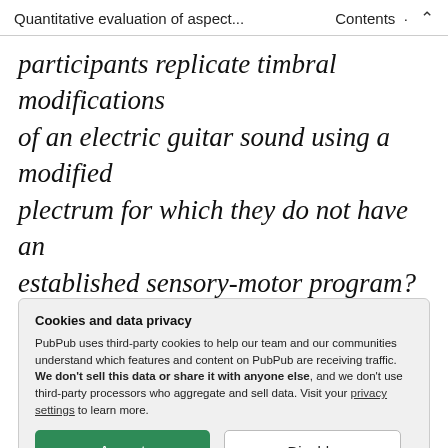Quantitative evaluation of aspect... Contents ⌃
participants replicate timbral modifications of an electric guitar sound using a modified plectrum for which they do not have an established sensory-motor program?
In the second part of the study, a very slow triangular low-frequency oscillator (LFO) decreases the Magpick sensitivity by 33%
Cookies and data privacy
PubPub uses third-party cookies to help our team and our communities understand which features and content on PubPub are receiving traffic. We don't sell this data or share it with anyone else, and we don't use third-party processors who aggregate and sell data. Visit your privacy settings to learn more.
the performed guitar sound becomes